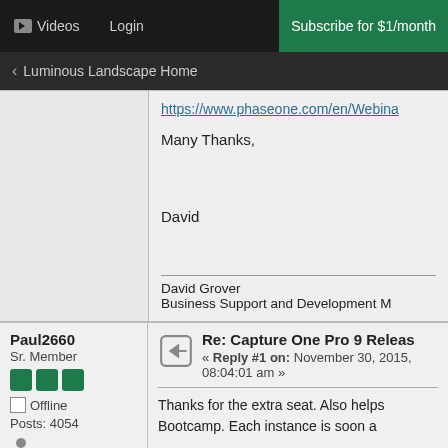▶ Videos  Login  Subscribe for $1/month
< Luminous Landscape Home
https://www.phaseone.com/en/Webina
Many Thanks,
David
David Grover
Business Support and Development M
Paul2660
Sr. Member
Offline
Posts: 4054
Re: Capture One Pro 9 Releas
« Reply #1 on: November 30, 2015, 08:04:01 am »
Thanks for the extra seat.  Also helps
Bootcamp.  Each instance is soon a